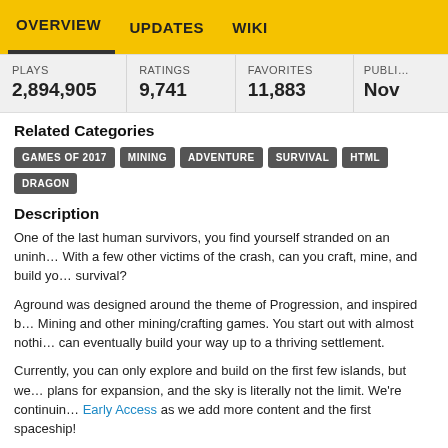OVERVIEW   UPDATES   WIKI
| PLAYS | RATINGS | FAVORITES | PUBLI… |
| --- | --- | --- | --- |
| 2,894,905 | 9,741 | 11,883 | Nov |
Related Categories
GAMES OF 2017
MINING
ADVENTURE
SURVIVAL
HTML
DRAGON
Description
One of the last human survivors, you find yourself stranded on an uninh… With a few other victims of the crash, can you craft, mine, and build yo… survival?
Aground was designed around the theme of Progression, and inspired b… Mining and other mining/crafting games. You start out with almost nothi… can eventually build your way up to a thriving settlement.
Currently, you can only explore and build on the first few islands, but we… plans for expansion, and the sky is literally not the limit. We're continuin… Early Access as we add more content and the first spaceship!
We're planning to continue developing Aground based on feedback and… from players, so definitely send me a message or post in our subreddit